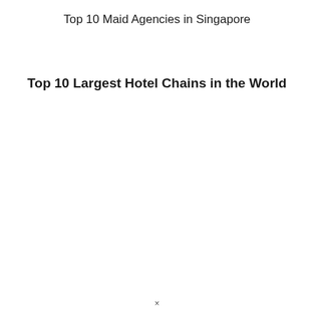Top 10 Maid Agencies in Singapore
Top 10 Largest Hotel Chains in the World
×